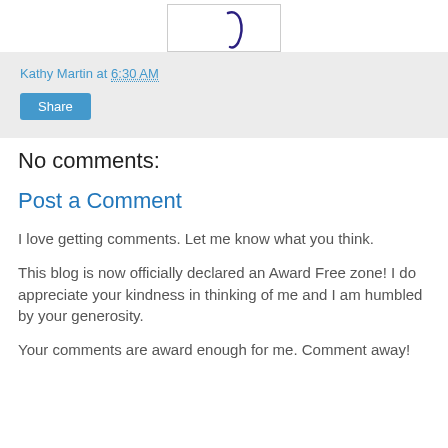[Figure (illustration): Partial view of a signature or handwriting in dark blue ink inside a bordered box]
Kathy Martin at 6:30 AM
Share
No comments:
Post a Comment
I love getting comments. Let me know what you think.
This blog is now officially declared an Award Free zone! I do appreciate your kindness in thinking of me and I am humbled by your generosity.
Your comments are award enough for me. Comment away!